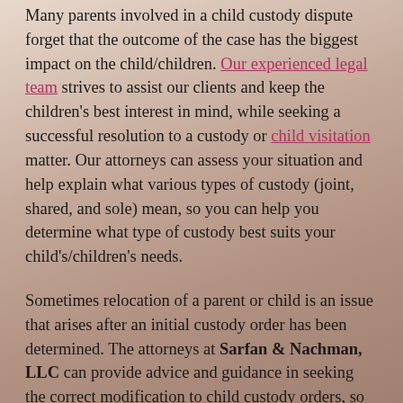Many parents involved in a child custody dispute forget that the outcome of the case has the biggest impact on the child/children. Our experienced legal team strives to assist our clients and keep the children's best interest in mind, while seeking a successful resolution to a custody or child visitation matter. Our attorneys can assess your situation and help explain what various types of custody (joint, shared, and sole) mean, so you can help you determine what type of custody best suits your child's/children's needs.
Sometimes relocation of a parent or child is an issue that arises after an initial custody order has been determined. The attorneys at Sarfan & Nachman, LLC can provide advice and guidance in seeking the correct modification to child custody orders, so that a relocation can occur.
Child Support